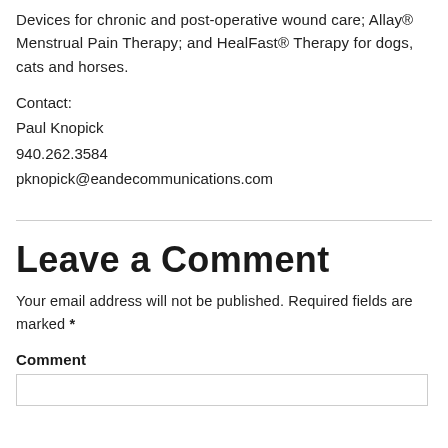Devices for chronic and post-operative wound care; Allay® Menstrual Pain Therapy; and HealFast® Therapy for dogs, cats and horses.
Contact:
Paul Knopick
940.262.3584
pknopick@eandecommunications.com
Leave a Comment
Your email address will not be published. Required fields are marked *
Comment